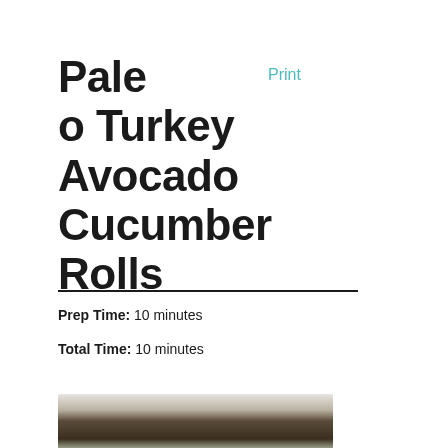Paleo Turkey Avocado Cucumber Rolls
Print
Prep Time: 10 minutes
Total Time: 10 minutes
[Figure (photo): Photo of Paleo Turkey Avocado Cucumber Rolls on a plate]